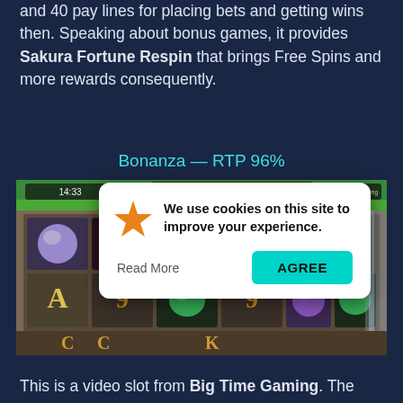and 40 pay lines for placing bets and getting wins then. Speaking about bonus games, it provides Sakura Fortune Respin that brings Free Spins and more rewards consequently.
Bonanza — RTP 96%
[Figure (screenshot): Screenshot of the Bonanza slot game by Big Time Gaming showing colorful gem symbols on a mining-themed reel layout, with a cookie consent popup overlay in the lower right corner showing a star icon, text 'We use cookies on this site to improve your experience.' with 'Read More' and 'AGREE' buttons.]
This is a video slot from Big Time Gaming. The